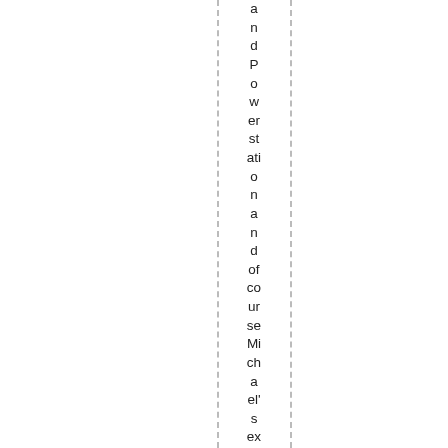and Power station and of course Michael's ex-wife Pamel